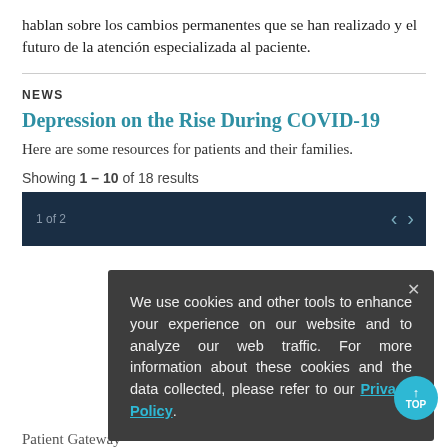hablan sobre los cambios permanentes que se han realizado y el futuro de la atención especializada al paciente.
NEWS
Depression on the Rise During COVID-19
Here are some resources for patients and their families.
Showing 1 – 10 of 18 results
We use cookies and other tools to enhance your experience on our website and to analyze our web traffic. For more information about these cookies and the data collected, please refer to our Privacy Policy.
Patient Gateway